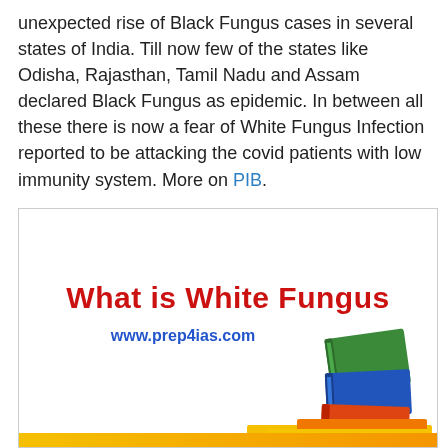unexpected rise of Black Fungus cases in several states of India. Till now few of the states like Odisha, Rajasthan, Tamil Nadu and Assam declared Black Fungus as epidemic. In between all these there is now a fear of White Fungus Infection reported to be attacking the covid patients with low immunity system. More on PIB.
[Figure (illustration): Infographic box with white background and gray border. Contains bold red text 'What is White Fungus', blue text 'www.prep4ias.com', and a stack of colorful books (green, blue, orange, yellow) in the bottom-right corner. A yellow-orange strip runs across the very bottom.]